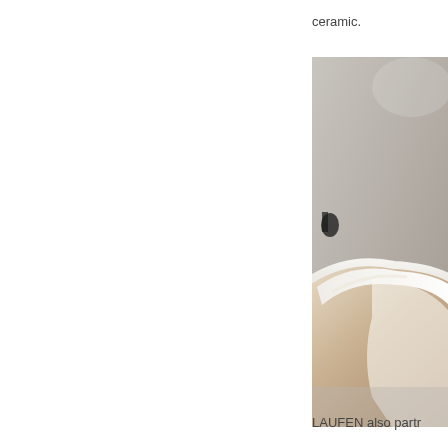ceramic.
[Figure (photo): Close-up photo of a white ceramic bathroom washbasin/sink with a rounded rim, photographed against a grey surface background. The image shows the curved edge and interior of the basin, with warm beige tones on the exterior and bright white on the interior.]
LAUFEN also partr